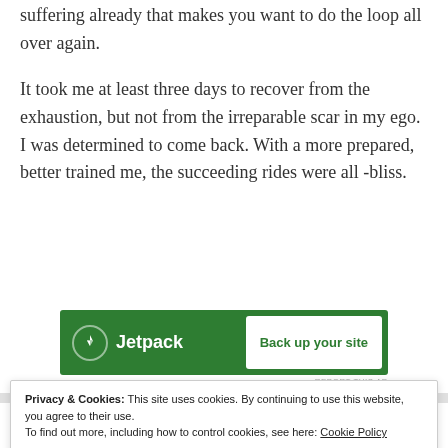suffering already that makes you want to do the loop all over again.
It took me at least three days to recover from the exhaustion, but not from the irreparable scar in my ego. I was determined to come back. With a more prepared, better trained me, the succeeding rides were all -bliss.
[Figure (other): Jetpack advertisement banner with green background showing Jetpack logo and 'Back up your site' button]
Privacy & Cookies: This site uses cookies. By continuing to use this website, you agree to their use.
To find out more, including how to control cookies, see here: Cookie Policy
Close and accept